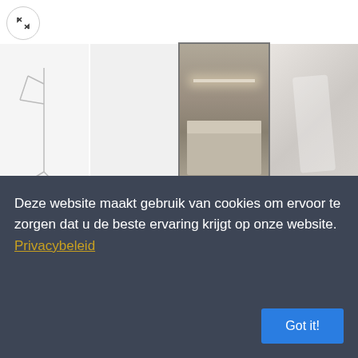[Figure (screenshot): Expand icon button (arrows pointing outward) in a circle]
[Figure (photo): Thumbnail strip with 4 product images: lamp sketch, blank/white, bedroom scene, draped fabric]
[Figure (other): Navigation prev/next arrow buttons]
Home / TAFELLAMP / IC Lights Table Lamp series
[Figure (logo): SIMIC logo with lightbulb icons]
Deze website maakt gebruik van cookies om ervoor te zorgen dat u de beste ervaring krijgt op onze website. Privacybeleid
Got it!